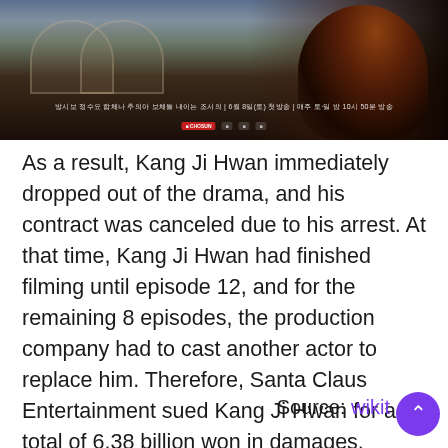[Figure (photo): Korean drama promotional image with a figure in traditional dark robes against an architectural background, with Korean text overlay and network/streaming logos]
As a result, Kang Ji Hwan immediately dropped out of the drama, and his contract was canceled due to his arrest. At that time, Kang Ji Hwan had finished filming until episode 12, and for the remaining 8 episodes, the production company had to cast another actor to replace him. Therefore, Santa Claus Entertainment sued Kang Ji Hwan for a total of 6.38 billion won in damages.
Source: wikit